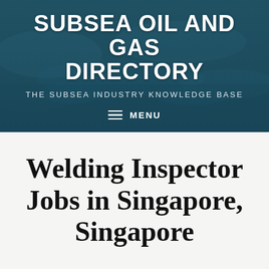SUBSEA OIL AND GAS DIRECTORY
THE SUBSEA INDUSTRY KNOWLEDGE BASE
MENU
Welding Inspector Jobs in Singapore, Singapore